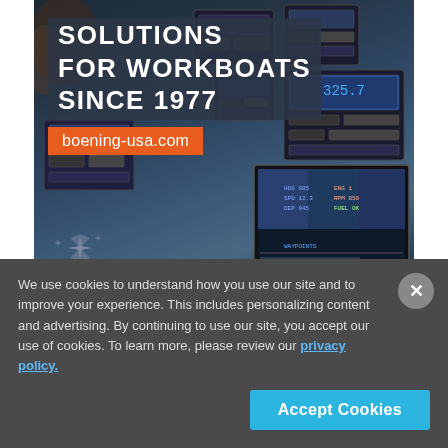[Figure (illustration): Advertisement for Böning Ship Automation showing a boat control panel/dashboard with navigation equipment. Text overlay reads 'SOLUTIONS FOR WORKBOATS SINCE 1977' with orange 'boening-usa.com' badge. Böning logo with star graphic and 'SHIP AUTOMATION' text at bottom.]
We use cookies to understand how you use our site and to improve your experience. This includes personalizing content and advertising. By continuing to use our site, you accept our use of cookies. To learn more, please review our privacy policy.
Accept Cookies